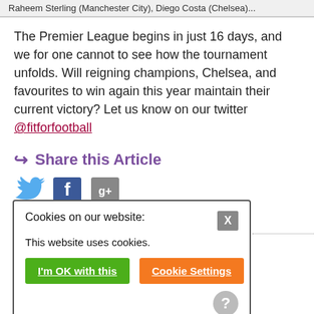Raheem Sterling (Manchester City), Diego Costa (Chelsea)...
The Premier League begins in just 16 days, and we for one cannot to see how the tournament unfolds. Will reigning champions, Chelsea, and favourites to win again this year maintain their current victory? Let us know on our twitter @fitforfootball
Share this Article
[Figure (infographic): Social sharing icons: Twitter bird, Facebook F, Google+ g+ square icons]
Cookies on our website:
This website uses cookies.
I'm OK with this | Cookie Settings